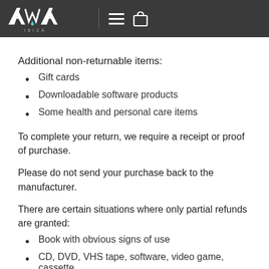AWA IBIZA
Additional non-returnable items:
Gift cards
Downloadable software products
Some health and personal care items
To complete your return, we require a receipt or proof of purchase.
Please do not send your purchase back to the manufacturer.
There are certain situations where only partial refunds are granted:
Book with obvious signs of use
CD, DVD, VHS tape, software, video game, cassette